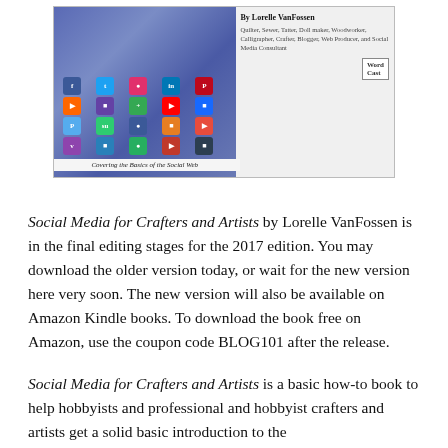[Figure (photo): Book cover of 'Social Media for Crafters and Artists' by Lorelle VanFossen, showing a decorative pillow with social media icons on the left, and author bio text and WordCast logo on the right. Caption reads 'Covering the Basics of the Social Web'.]
Social Media for Crafters and Artists by Lorelle VanFossen is in the final editing stages for the 2017 edition. You may download the older version today, or wait for the new version here very soon. The new version will also be available on Amazon Kindle books. To download the book free on Amazon, use the coupon code BLOG101 after the release.
Social Media for Crafters and Artists is a basic how-to book to help hobbyists and professional and hobbyist crafters and artists get a solid basic introduction to the social web. It will help them get a presence on the